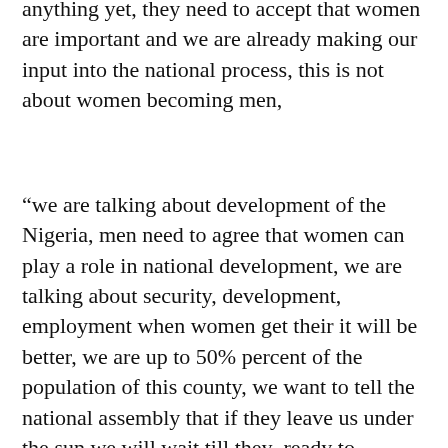anything yet, they need to accept that women are important and we are already making our input into the national process, this is not about women becoming men,
“we are talking about development of the Nigeria, men need to agree that women can play a role in national development, we are talking about security, development, employment when women get their it will be better, we are up to 50% percent of the population of this county, we want to tell the national assembly that if they leave us under the sun we will wait till they  ready to recommit the bill.